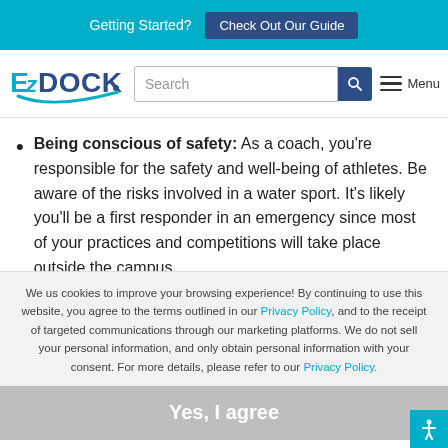Getting Started? Check Out Our Guide
[Figure (logo): EzDock logo with stylized text and swoosh graphic]
Being conscious of safety: As a coach, you're responsible for the safety and well-being of athletes. Be aware of the risks involved in a water sport. It's likely you'll be a first responder in an emergency since most of your practices and competitions will take place outside the campus
We us cookies to improve your browsing experience! By continuing to use this website, you agree to the terms outlined in our Privacy Policy, and to the receipt of targeted communications through our marketing platforms. We do not sell your personal information, and only obtain personal information with your consent. For more details, please refer to our Privacy Policy.
Yes, I agree